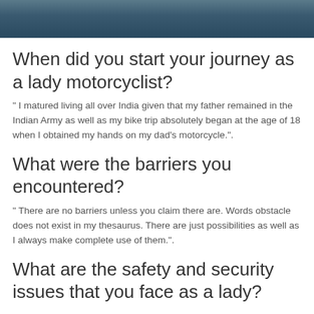[Figure (photo): Dark grayish-blue textured surface photo at top of page]
When did you start your journey as a lady motorcyclist?
" I matured living all over India given that my father remained in the Indian Army as well as my bike trip absolutely began at the age of 18 when I obtained my hands on my dad's motorcycle.".
What were the barriers you encountered?
" There are no barriers unless you claim there are. Words obstacle does not exist in my thesaurus. There are just possibilities as well as I always make complete use of them.".
What are the safety and security issues that you face as a lady?